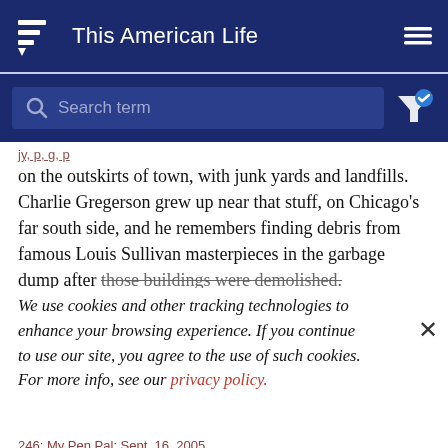This American Life
[Figure (screenshot): Search bar with 'Search term' placeholder on dark navy background with filter icon]
on the outskirts of town, with junk yards and landfills. Charlie Gregerson grew up near that stuff, on Chicago's far south side, and he remembers finding debris from famous Louis Sullivan masterpieces in the garbage dump after those buildings were demolished.
We use cookies and other tracking technologies to enhance your browsing experience. If you continue to use our site, you agree to the use of such cookies. For more info, see our privacy policy.
246: My Pen Pal: Sept. 16, 2005
Prologue
Ira talks to historian Ted Widmer about two of the first pen pals in the New World. John Winthrop and Roger William...